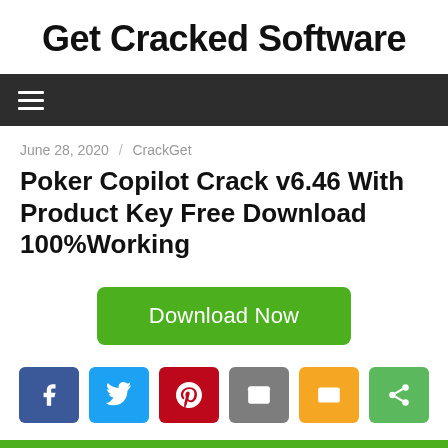Get Cracked Software
Navigation menu
June 28, 2020 / CrackGet
Poker Copilot Crack v6.46 With Product Key Free Download 100%Working
Download Now
[Figure (other): Social sharing buttons: Facebook, Twitter, Pinterest, Email, Line, Share]